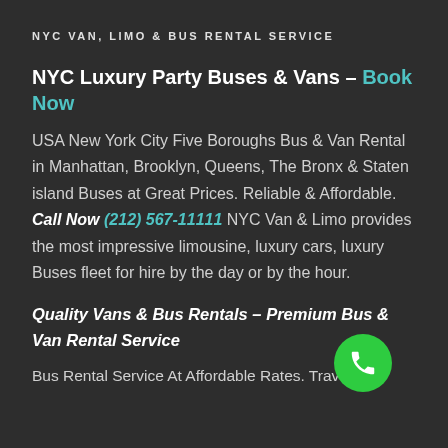NYC VAN, LIMO & BUS RENTAL SERVICE
NYC Luxury Party Buses & Vans – Book Now
USA New York City Five Boroughs Bus & Van Rental in Manhattan, Brooklyn, Queens, The Bronx & Staten island Buses at Great Prices. Reliable & Affordable. Call Now (212) 567-11111 NYC Van & Limo provides the most impressive limousine, luxury cars, luxury Buses fleet for hire by the day or by the hour.
Quality Vans & Bus Rentals – Premium Bus & Van Rental Service
Bus Rental Service At Affordable Rates. Travel In